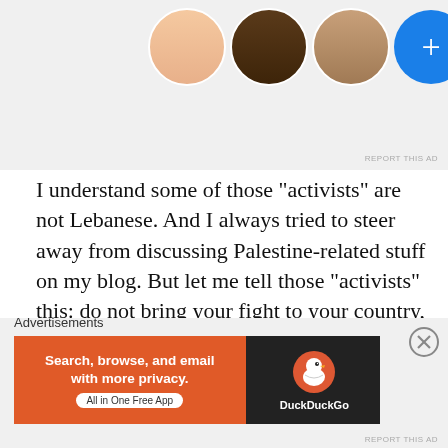[Figure (screenshot): Top portion of a web page showing circular avatar photos (three profile pictures and a blue plus button) on a light gray background, with a 'REPORT THIS AD' link in small gray text at bottom right.]
I understand some of those “activists” are not Lebanese. And I always tried to steer away from discussing Palestine-related stuff on my blog. But let me tell those “activists” this: do not bring your fight to your country, especially with things as meaningless as this.
So sing miss Fabian, sing. And don’t you worry. Irrelevant people will remain irrelevant as long as their priorities are not sorted.
[Figure (screenshot): Advertisement banner area at the bottom showing 'Advertisements' label above a DuckDuckGo ad. The ad has an orange left section saying 'Search, browse, and email with more privacy. All in One Free App' and a dark right section with the DuckDuckGo duck logo and text. A close (X) button appears at top right of the ad area.]